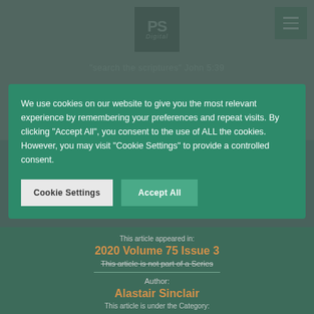[Figure (logo): PS Digital logo — black square with 'PS' in gray and 'Digital' in italic script below]
"search the scriptures" John 5:39
We use cookies on our website to give you the most relevant experience by remembering your preferences and repeat visits. By clicking "Accept All", you consent to the use of ALL the cookies. However, you may visit "Cookie Settings" to provide a controlled consent.
Cookie Settings
Accept All
This article appeared in:
2020 Volume 75 Issue 3
This article is not part of a Series
Author:
Alastair Sinclair
This article is under the Category: